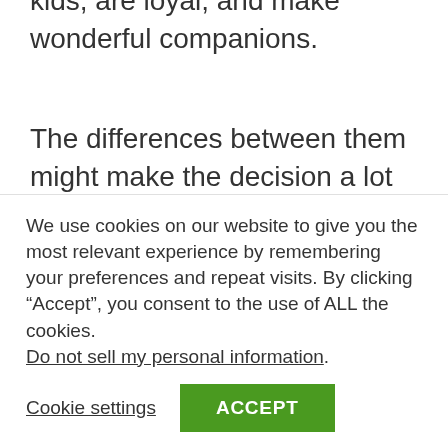kids, are loyal, and make wonderful companions.
The differences between them might make the decision a lot easier for you. They differ in size, appearance, temperament and grooming requirements.
Goldendoodles can be unpredictable in their temperament, their appearance, and
We use cookies on our website to give you the most relevant experience by remembering your preferences and repeat visits. By clicking “Accept”, you consent to the use of ALL the cookies. Do not sell my personal information.